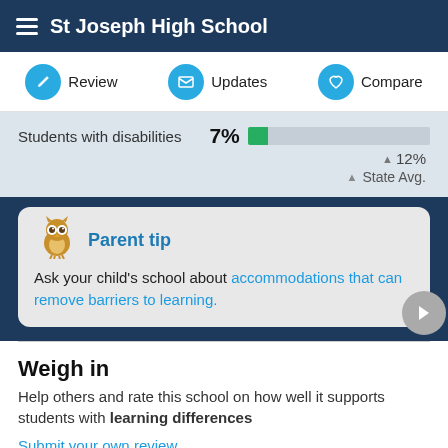St Joseph High School
Review  Updates  Compare
Students with disabilities   7%   12%
▲ State Avg.
Parent tip
Ask your child's school about accommodations that can remove barriers to learning.
Weigh in
Help others and rate this school on how well it supports students with learning differences
Submit your own review